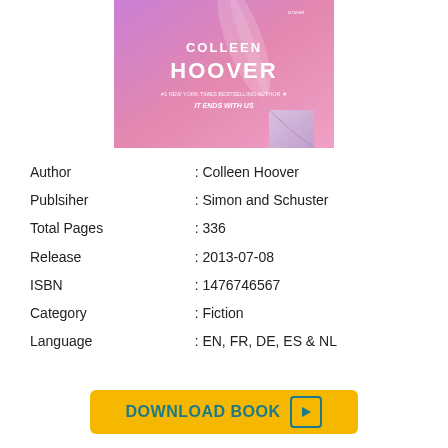[Figure (illustration): Book cover of 'It Ends with Us' by Colleen Hoover, showing purple/pink background with a feather, white bold text 'COLLEEN HOOVER', subtitle '#1 New York Times Bestselling Author - It Ends with Us']
| Author | : Colleen Hoover |
| Publsiher | : Simon and Schuster |
| Total Pages | : 336 |
| Release | : 2013-07-08 |
| ISBN | : 1476746567 |
| Category | : Fiction |
| Language | : EN, FR, DE, ES & NL |
DOWNLOAD BOOK ▶